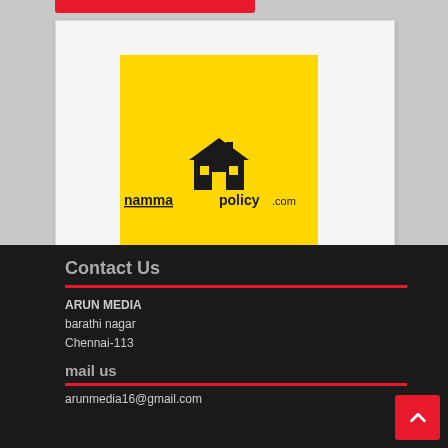[Figure (logo): nammapolicy.com logo — yellow background with stylized house/building silhouette and text 'namma policy.com']
Contact Us
ARUN MEDIA
barathi nagar
Chennai-113
mail us
arunmedia16@gmail.com